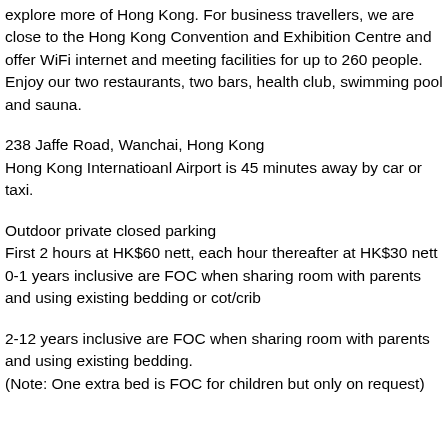explore more of Hong Kong. For business travellers, we are close to the Hong Kong Convention and Exhibition Centre and offer WiFi internet and meeting facilities for up to 260 people. Enjoy our two restaurants, two bars, health club, swimming pool and sauna.
238 Jaffe Road, Wanchai, Hong Kong
Hong Kong Internatioanl Airport is 45 minutes away by car or taxi.
Outdoor private closed parking
First 2 hours at HK$60 nett, each hour thereafter at HK$30 nett
0-1 years inclusive are FOC when sharing room with parents and using existing bedding or cot/crib
2-12 years inclusive are FOC when sharing room with parents and using existing bedding.
(Note: One extra bed is FOC for children but only on request)